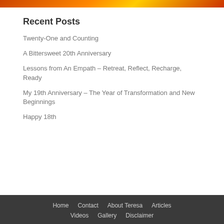[Figure (other): Orange and red gradient header banner image]
Recent Posts
Twenty-One and Counting
A Bittersweet 20th Anniversary
Lessons from An Empath – Retreat, Reflect, Recharge, Ready
My 19th Anniversary – The Year of Transformation and New Beginnings
Happy 18th
Home  Contact  About Teresa  Articles  Videos  Gallery  Disclaimer